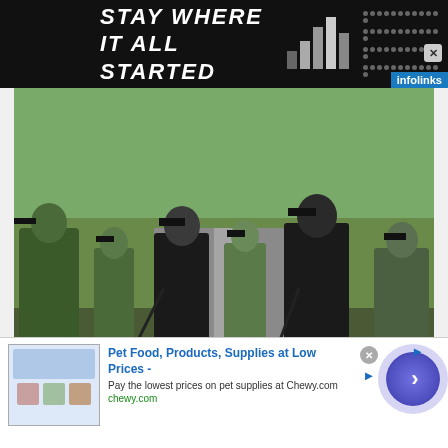[Figure (other): Top advertisement banner with dark background showing 'STAY WHERE IT ALL STARTED' text, building logo with bar chart shapes, dot grid pattern, and infolinks badge]
[Figure (photo): Group of armed soldiers/fighters with redacted faces (black boxes) standing on a road surrounded by trees. They are wearing military gear and carrying weapons.]
Local man drops everything to help train Ukrainian citizens to fight the war with
[Figure (other): Bottom advertisement for Chewy.com pet food with infolinks badge, product thumbnail, title 'Pet Food, Products, Supplies at Low Prices -', description text, URL, navigation arrow button, and sponsor icon]